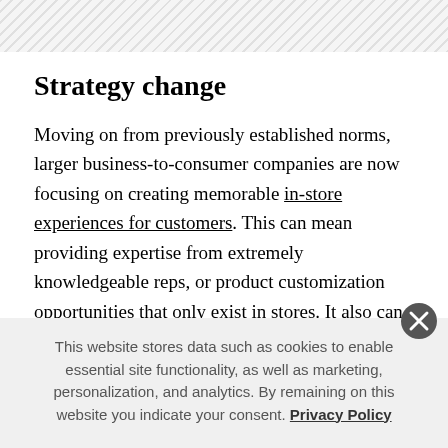Strategy change
Moving on from previously established norms, larger business-to-consumer companies are now focusing on creating memorable in-store experiences for customers. This can mean providing expertise from extremely knowledgeable reps, or product customization opportunities that only exist in stores. It also can mean a futuristic, tech-enabled buying experience
This website stores data such as cookies to enable essential site functionality, as well as marketing, personalization, and analytics. By remaining on this website you indicate your consent. Privacy Policy